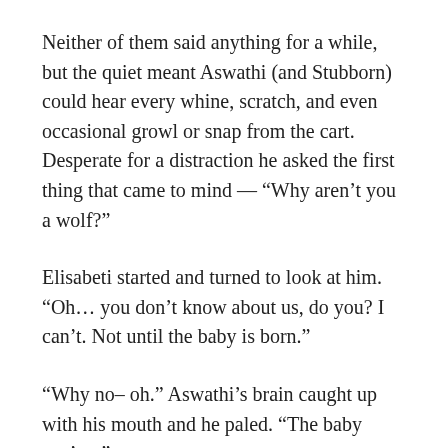Neither of them said anything for a while, but the quiet meant Aswathi (and Stubborn) could hear every whine, scratch, and even occasional growl or snap from the cart. Desperate for a distraction he asked the first thing that came to mind — “Why aren’t you a wolf?”
Elisabeti started and turned to look at him. “Oh… you don’t know about us, do you? I can’t. Not until the baby is born.”
“Why no– oh.” Aswathi’s brain caught up with his mouth and he paled. “The baby can’t…”
“Not until around 3 months. Most of us can only get pregnant in one form. I’m lucky. I